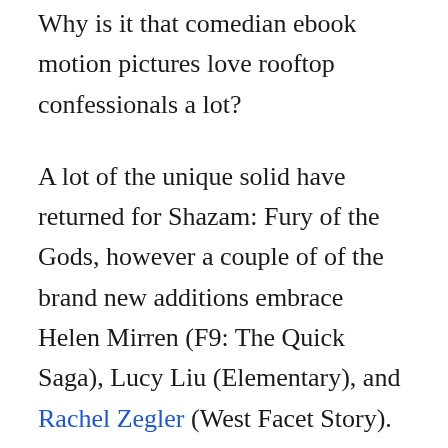Why is it that comedian ebook motion pictures love rooftop confessionals a lot?

A lot of the unique solid have returned for Shazam: Fury of the Gods, however a couple of of the brand new additions embrace Helen Mirren (F9: The Quick Saga), Lucy Liu (Elementary), and Rachel Zegler (West Facet Story). Shazam: Fury of the Gods is presently slated for a June 2, 2023 launch. The sequel will comply with the occasions of the primary movie, which was met with essential acclaim